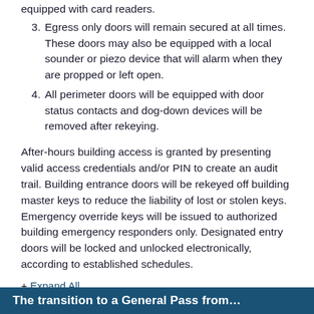3. Egress only doors will remain secured at all times. These doors may also be equipped with a local sounder or piezo device that will alarm when they are propped or left open.
4. All perimeter doors will be equipped with door status contacts and dog-down devices will be removed after rekeying.
After-hours building access is granted by presenting valid access credentials and/or PIN to create an audit trail. Building entrance doors will be rekeyed off building master keys to reduce the liability of lost or stolen keys. Emergency override keys will be issued to authorized building emergency responders only. Designated entry doors will be locked and unlocked electronically, according to established schedules.
+ Expand All
The transition to a General Pass from...